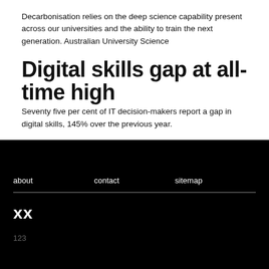Decarbonisation relies on the deep science capability present across our universities and the ability to train the next generation. Australian University Science
Digital skills gap at all-time high
Seventy five per cent of IT decision-makers report a gap in digital skills, 145% over the previous year.
about   contact   sitemap
xx
123